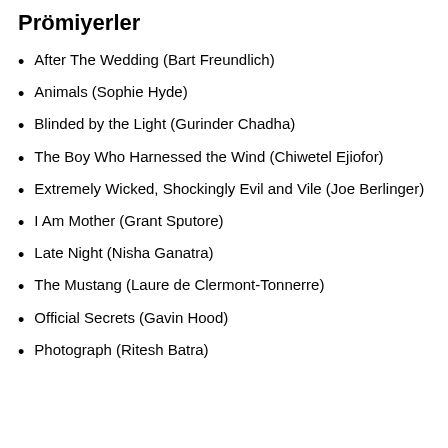Prömiyerler
After The Wedding (Bart Freundlich)
Animals (Sophie Hyde)
Blinded by the Light (Gurinder Chadha)
The Boy Who Harnessed the Wind (Chiwetel Ejiofor)
Extremely Wicked, Shockingly Evil and Vile (Joe Berlinger)
I Am Mother (Grant Sputore)
Late Night (Nisha Ganatra)
The Mustang (Laure de Clermont-Tonnerre)
Official Secrets (Gavin Hood)
Photograph (Ritesh Batra)